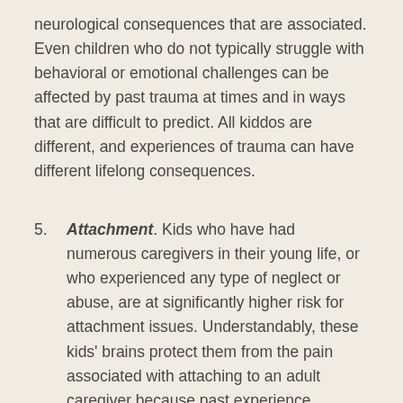neurological consequences that are associated. Even children who do not typically struggle with behavioral or emotional challenges can be affected by past trauma at times and in ways that are difficult to predict. All kiddos are different, and experiences of trauma can have different lifelong consequences.
Attachment. Kids who have had numerous caregivers in their young life, or who experienced any type of neglect or abuse, are at significantly higher risk for attachment issues. Understandably, these kids' brains protect them from the pain associated with attaching to an adult caregiver because past experience (whether conscious or not) has taught them these caregivers can be dangerous. Even in the presence of attentive and loving caregivers, these children are not often able to attach securely and connect in ways other